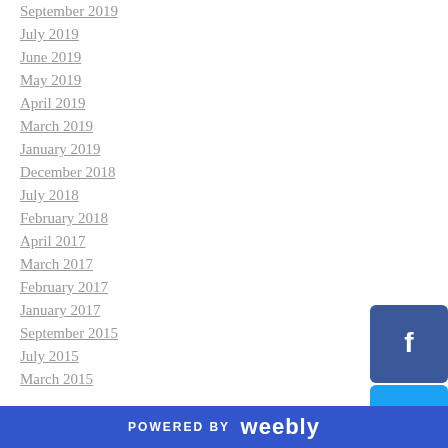September 2019
July 2019
June 2019
May 2019
April 2019
March 2019
January 2019
December 2018
July 2018
February 2018
April 2017
March 2017
February 2017
January 2017
September 2015
July 2015
March 2015
[Figure (logo): Facebook social media button - dark blue square with white F icon]
[Figure (logo): Twitter social media button - cyan/light blue square with white bird icon]
[Figure (logo): Pinterest social media button - red square with white P icon]
[Figure (logo): Instagram social media button - gradient pink/red square with white camera icon]
[Figure (logo): Facebook Messenger social media button - blue square with white messenger icon]
POWERED BY weebly